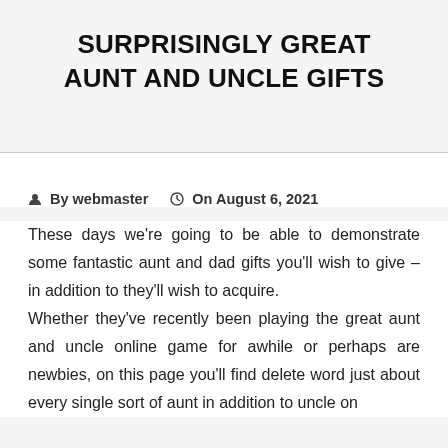SURPRISINGLY GREAT AUNT AND UNCLE GIFTS
By webmaster   On August 6, 2021
These days we're going to be able to demonstrate some fantastic aunt and dad gifts you'll wish to give – in addition to they'll wish to acquire. Whether they've recently been playing the great aunt and uncle online game for awhile or perhaps are newbies, on this page you'll find delete word just about every single sort of aunt in addition to uncle on